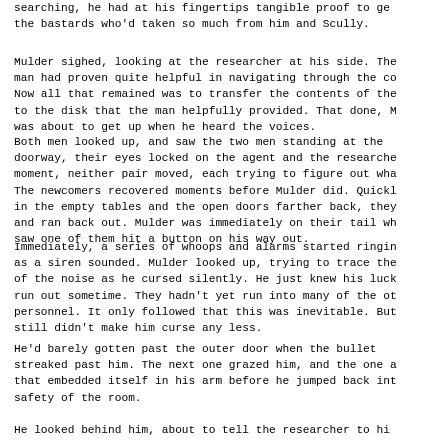searching, he had at his fingertips tangible proof to get the bastards who'd taken so much from him and Scully.
Mulder sighed, looking at the researcher at his side. The man had proven quite helpful in navigating through the co... Now all that remained was to transfer the contents of the to the disk that the man helpfully provided. That done, M was about to get up when he heard the voices.
Both men looked up, and saw the two men standing at the doorway, their eyes locked on the agent and the researche... moment, neither pair moved, each trying to figure out wha... The newcomers recovered moments before Mulder did. Quickl... in the empty tables and the open doors farther back, they and ran back out. Mulder was immediately on their tail wh... saw one of them hit a button on his way out.
Immediately, a series of whoops and alarms started ringin... as a siren sounded. Mulder looked up, trying to trace the of the noise as he cursed silently. He just knew his luck run out sometime. They hadn't yet run into many of the ot... personnel. It only followed that this was inevitable. But still didn't make him curse any less.
He'd barely gotten past the outer door when the bullet streaked past him. The next one grazed him, and the one a... that embedded itself in his arm before he jumped back int... safety of the room.
He looked behind him, about to tell the researcher to hi...